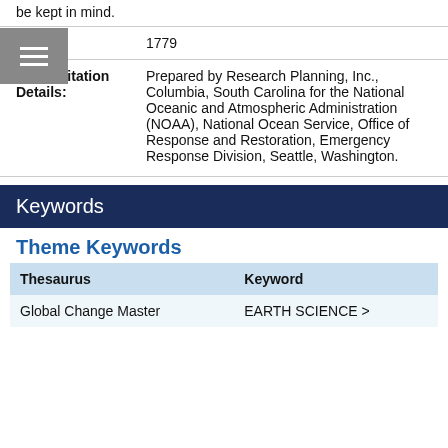be kept in mind.
Notes: 1779
Other Citation Details: Prepared by Research Planning, Inc., Columbia, South Carolina for the National Oceanic and Atmospheric Administration (NOAA), National Ocean Service, Office of Response and Restoration, Emergency Response Division, Seattle, Washington.
Keywords
Theme Keywords
| Thesaurus | Keyword |
| --- | --- |
| Global Change Master | EARTH SCIENCE > |